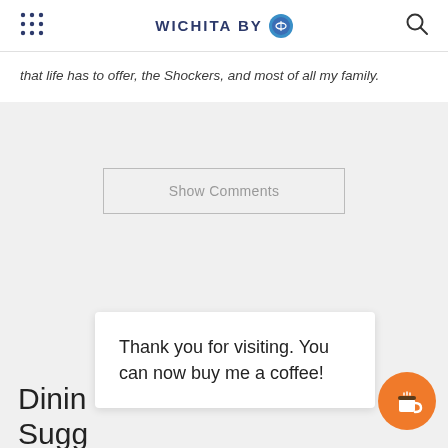WICHITA BY [logo]
that life has to offer, the Shockers, and most of all my family.
Show Comments
Dining Suggestions
Thank you for visiting. You can now buy me a coffee!